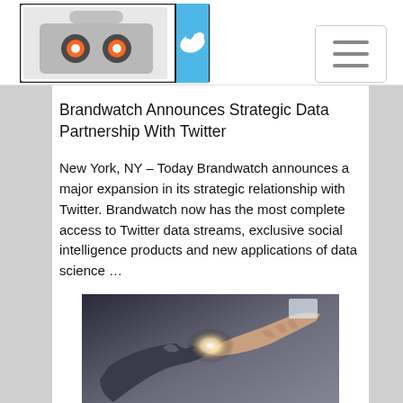[Figure (logo): Robot logo with Twitter bird icon on light blue background, website navigation header logo]
[Figure (other): Hamburger menu button (three horizontal lines) in top right corner of navigation bar]
Brandwatch Announces Strategic Data Partnership With Twitter
New York, NY – Today Brandwatch announces a major expansion in its strategic relationship with Twitter. Brandwatch now has the most complete access to Twitter data streams, exclusive social intelligence products and new applications of data science …
[Figure (photo): Two people shaking hands with a bright light between them, business partnership concept photo]